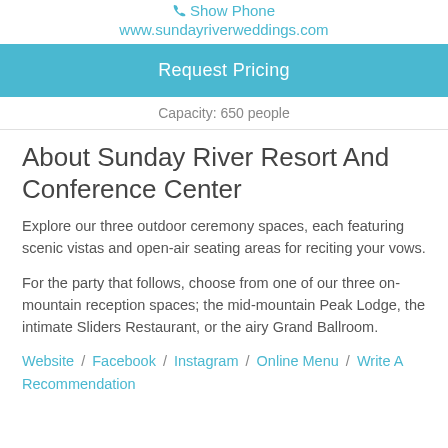Show Phone
www.sundayriverweddings.com
Request Pricing
Capacity: 650 people
About Sunday River Resort And Conference Center
Explore our three outdoor ceremony spaces, each featuring scenic vistas and open-air seating areas for reciting your vows.
For the party that follows, choose from one of our three on-mountain reception spaces; the mid-mountain Peak Lodge, the intimate Sliders Restaurant, or the airy Grand Ballroom.
Website / Facebook / Instagram / Online Menu / Write A Recommendation